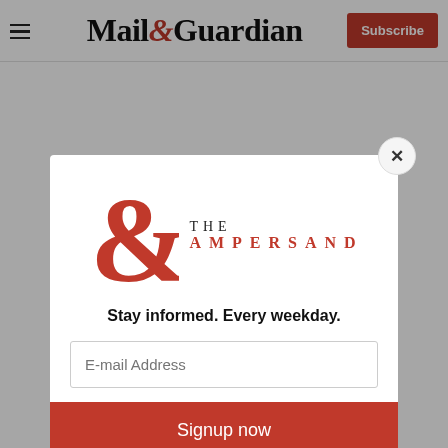Mail & Guardian | Subscribe
[Figure (logo): The Ampersand newsletter logo — large red ampersand with 'THE AMPERSAND' text]
Stay informed. Every weekday.
E-mail Address
Signup now